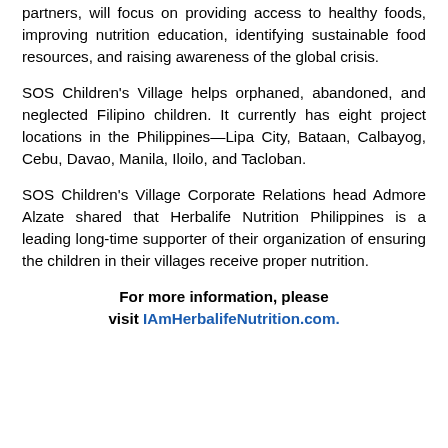partners, will focus on providing access to healthy foods, improving nutrition education, identifying sustainable food resources, and raising awareness of the global crisis.
SOS Children's Village helps orphaned, abandoned, and neglected Filipino children. It currently has eight project locations in the Philippines—Lipa City, Bataan, Calbayog, Cebu, Davao, Manila, Iloilo, and Tacloban.
SOS Children's Village Corporate Relations head Admore Alzate shared that Herbalife Nutrition Philippines is a leading long-time supporter of their organization of ensuring the children in their villages receive proper nutrition.
For more information, please visit IAmHerbalifeNutrition.com.